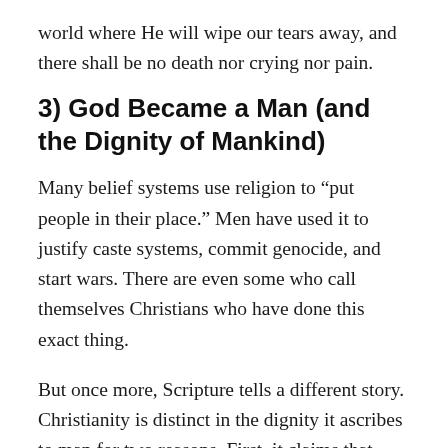world where He will wipe our tears away, and there shall be no death nor crying nor pain.
3) God Became a Man (and the Dignity of Mankind)
Many belief systems use religion to “put people in their place.” Men have used it to justify caste systems, commit genocide, and start wars. There are even some who call themselves Christians who have done this exact thing.
But once more, Scripture tells a different story. Christianity is distinct in the dignity it ascribes to man for two reasons. First, it claims that man is